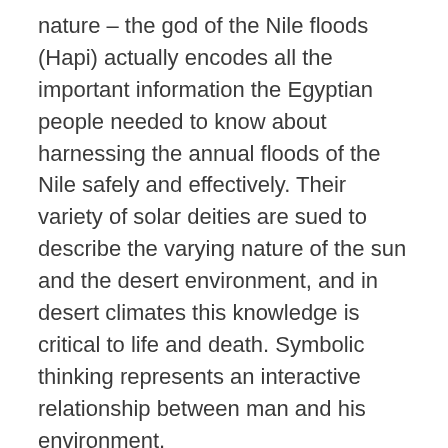nature – the god of the Nile floods (Hapi) actually encodes all the important information the Egyptian people needed to know about harnessing the annual floods of the Nile safely and effectively. Their variety of solar deities are sued to describe the varying nature of the sun and the desert environment, and in desert climates this knowledge is critical to life and death. Symbolic thinking represents an interactive relationship between man and his environment.
Materialist, scientific thinking is very literally accurate, but tends to fall into the trap of imagining that the scientist or the observer is somehow separate from the world he is observing. Quantum physics is beginning to